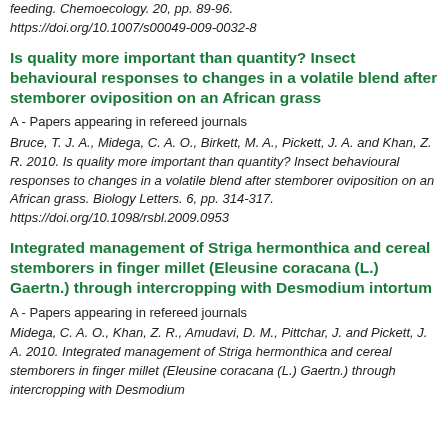feeding. Chemoecology. 20, pp. 89-96. https://doi.org/10.1007/s00049-009-0032-8
Is quality more important than quantity? Insect behavioural responses to changes in a volatile blend after stemborer oviposition on an African grass
A - Papers appearing in refereed journals
Bruce, T. J. A., Midega, C. A. O., Birkett, M. A., Pickett, J. A. and Khan, Z. R. 2010. Is quality more important than quantity? Insect behavioural responses to changes in a volatile blend after stemborer oviposition on an African grass. Biology Letters. 6, pp. 314-317. https://doi.org/10.1098/rsbl.2009.0953
Integrated management of Striga hermonthica and cereal stemborers in finger millet (Eleusine coracana (L.) Gaertn.) through intercropping with Desmodium intortum
A - Papers appearing in refereed journals
Midega, C. A. O., Khan, Z. R., Amudavi, D. M., Pittchar, J. and Pickett, J. A. 2010. Integrated management of Striga hermonthica and cereal stemborers in finger millet (Eleusine coracana (L.) Gaertn.) through intercropping with Desmodium